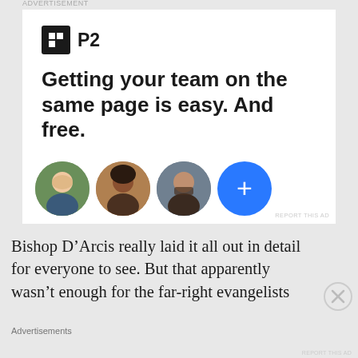[Figure (screenshot): Advertisement for P2 app showing logo, headline 'Getting your team on the same page is easy. And free.' with three person avatars and a blue plus button.]
Bishop D’Arcis really laid it all out in detail for everyone to see. But that apparently wasn’t enough for the far-right evangelists
Advertisements